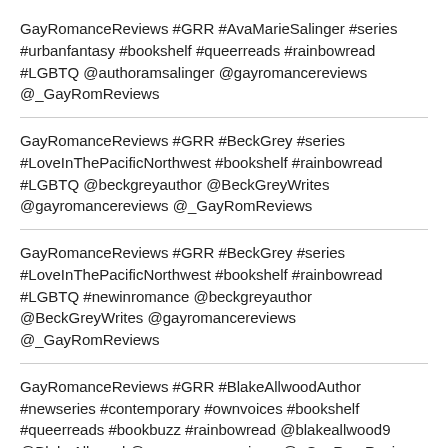GayRomanceReviews #GRR #AvaMarieSalinger #series #urbanfantasy #bookshelf #queerreads #rainbowread #LGBTQ @authoramsalinger @gayromancereviews @_GayRomReviews
GayRomanceReviews #GRR #BeckGrey #series #LoveInThePacificNorthwest #bookshelf #rainbowread #LGBTQ @beckgreyauthor @BeckGreyWrites @gayromancereviews @_GayRomReviews
GayRomanceReviews #GRR #BeckGrey #series #LoveInThePacificNorthwest #bookshelf #rainbowread #LGBTQ #newinromance @beckgreyauthor @BeckGreyWrites @gayromancereviews @_GayRomReviews
GayRomanceReviews #GRR #BlakeAllwoodAuthor #newseries #contemporary #ownvoices #bookshelf #queerreads #bookbuzz #rainbowread @blakeallwood9 @BlakeAllwood @gayromancereviews @_GayRomReviews
GayRomanceReviews #GRR #BLJones #newseries #scifi #urbanfantasy #romanticsuspense #foundfamily